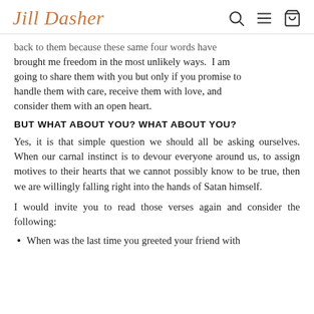Jill Dasher
back to them because these same four words have brought me freedom in the most unlikely ways.  I am going to share them with you but only if you promise to handle them with care, receive them with love, and consider them with an open heart.
BUT WHAT ABOUT YOU? WHAT ABOUT YOU?
Yes, it is that simple question we should all be asking ourselves. When our carnal instinct is to devour everyone around us, to assign motives to their hearts that we cannot possibly know to be true, then we are willingly falling right into the hands of Satan himself.
I would invite you to read those verses again and consider the following:
When was the last time you greeted your friend with